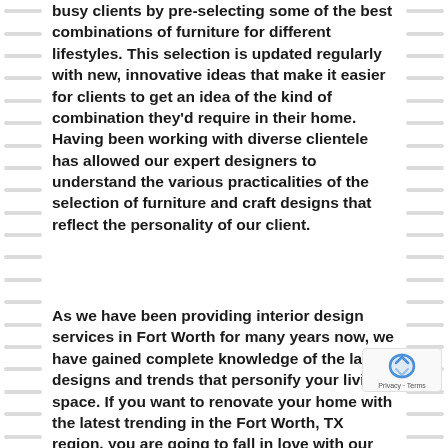busy clients by pre-selecting some of the best combinations of furniture for different lifestyles. This selection is updated regularly with new, innovative ideas that make it easier for clients to get an idea of the kind of combination they'd require in their home. Having been working with diverse clientele has allowed our expert designers to understand the various practicalities of the selection of furniture and craft designs that reflect the personality of our client.
As we have been providing interior design services in Fort Worth for many years now, we have gained complete knowledge of the latest designs and trends that personify your living space. If you want to renovate your home with the latest trending in the Fort Worth, TX region, you are going to fall in love with our exceptional quality in furniture. Over the years, we have also built a strong and stable partnership with various fabric houses, woodworking artisans, and leading furniture manufacturers to allow...